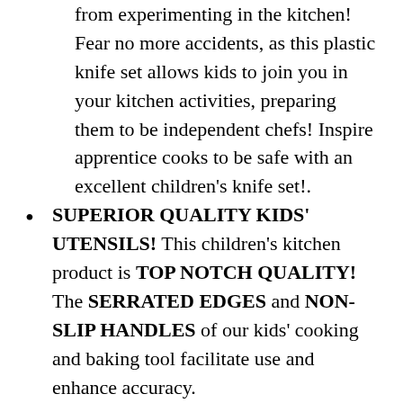from experimenting in the kitchen! Fear no more accidents, as this plastic knife set allows kids to join you in your kitchen activities, preparing them to be independent chefs! Inspire apprentice cooks to be safe with an excellent children's knife set!.
SUPERIOR QUALITY KIDS' UTENSILS! This children's kitchen product is TOP NOTCH QUALITY! The SERRATED EDGES and NON-SLIP HANDLES of our kids' cooking and baking tool facilitate use and enhance accuracy.
ABSOLUTELY SAFE FOR HEALTH! Our children's kitchen knife set is 100% FDA Grade and BPA-Free, allowing your children's food to remain safe and healthy! Based on our rigorous testing to meet the highest safety standards for kids' use, your